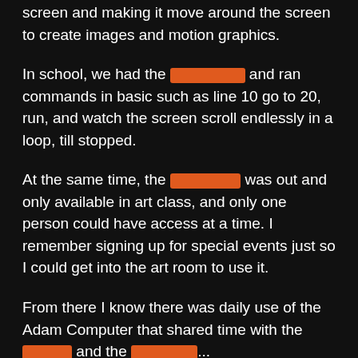screen and making it move around the screen to create images and motion graphics.
In school, we had the [REDACTED] and ran commands in basic such as line 10 go to 20, run, and watch the screen scroll endlessly in a loop, till stopped.
At the same time, the [REDACTED] was out and only available in art class, and only one person could have access at a time. I remember signing up for special events just so I could get into the art room to use it.
From there I know there was daily use of the Adam Computer that shared time with the [REDACTED] and the [REDACTED]...